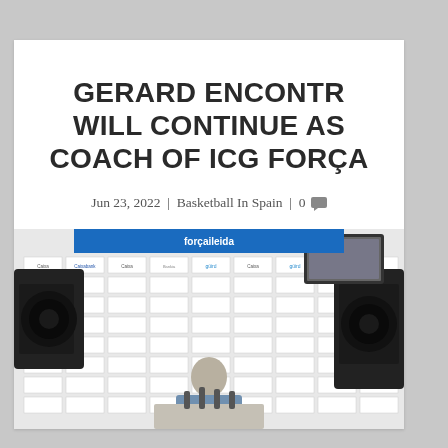GERARD ENCONTR WILL CONTINUE AS COACH OF ICG FORÇA
Jun 23, 2022 | Basketball In Spain | 0 💬
[Figure (photo): Press conference photo of a man speaking at a podium in front of a sponsor board with cameras visible on both sides]